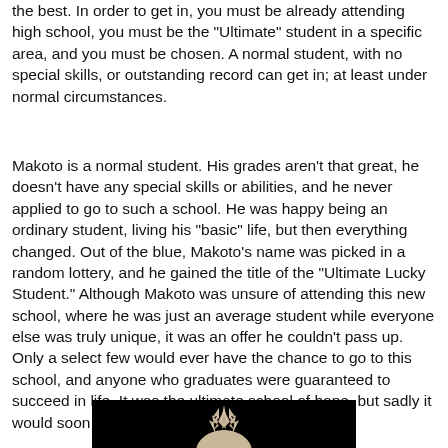the best. In order to get in, you must be already attending high school, you must be the "Ultimate" student in a specific area, and you must be chosen. A normal student, with no special skills, or outstanding record can get in; at least under normal circumstances.
Makoto is a normal student. His grades aren't that great, he doesn't have any special skills or abilities, and he never applied to go to such a school. He was happy being an ordinary student, living his "basic" life, but then everything changed. Out of the blue, Makoto's name was picked in a random lottery, and he gained the title of the "Ultimate Lucky Student." Although Makoto was unsure of attending this new school, where he was just an average student while everyone else was truly unique, it was an offer he couldn't pass up. Only a select few would ever have the chance to go to this school, and anyone who graduates were guaranteed to succeed in life. It was the ultimate school of hope, but sadly it would soon fall into despair.
[Figure (illustration): Dark background image showing an anime character with light/white spiky hair, partially visible at the bottom of the page]